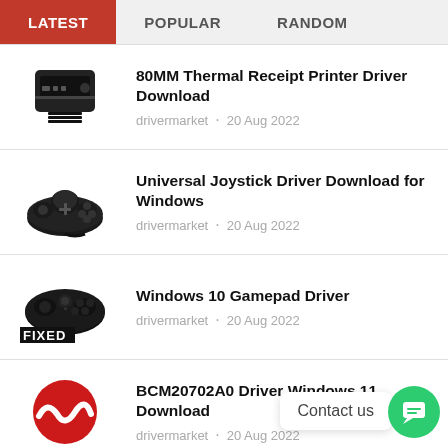LATEST | POPULAR | RANDOM
80MM Thermal Receipt Printer Driver Download — drivermarket · 20 Aug 2022
Universal Joystick Driver Download for Windows — drivermarket · 20 Aug 2022
Windows 10 Gamepad Driver — drivermarket · 20 Aug 2022
BCM20702A0 Driver Windows 11 Download — drivermarket · 20 Aug 2022
Broadcom Bluetooth Driver Windows 11 — drivermarket · 20 Aug 2022